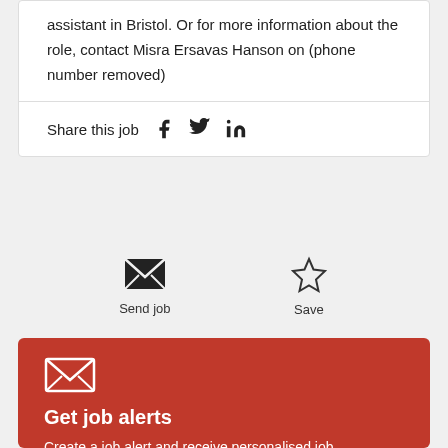assistant in Bristol. Or for more information about the role, contact Misra Ersavas Hanson on (phone number removed)
Share this job
Send job
Save
Get job alerts
Create a job alert and receive personalised job recommendations straight to your inbox.